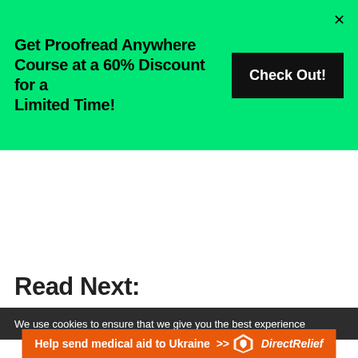Get Proofread Anywhere Course at a 60% Discount for a Limited Time!
Check Out!
Read Next:
We use cookies to ensure that we give you the best experience
Help send medical aid to Ukraine >>
[Figure (logo): Direct Relief logo with white bird/shield icon and italic text 'DirectRelief']